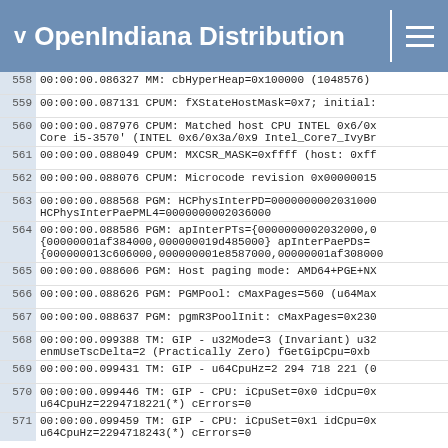OpenIndiana Distribution
558 00:00:00.086327 MM: cbHyperHeap=0x100000 (1048576)
559 00:00:00.087131 CPUM: fXStateHostMask=0x7; initial:
560 00:00:00.087976 CPUM: Matched host CPU INTEL 0x6/0x: Core i5-3570' (INTEL 0x6/0x3a/0x9 Intel_Core7_IvyBr:
561 00:00:00.088049 CPUM: MXCSR_MASK=0xffff (host: 0xff:
562 00:00:00.088076 CPUM: Microcode revision 0x00000015
563 00:00:00.088568 PGM: HCPhysInterPD=0000000002031000 HCPhysInterPaePML4=0000000002036000
564 00:00:00.088586 PGM: apInterPTs={0000000002032000,0: {00000001af384000,000000019d485000} apInterPaePDs= {000000013c606000,000000001e8587000,00000001af308000:
565 00:00:00.088606 PGM: Host paging mode: AMD64+PGE+NX
566 00:00:00.088626 PGM: PGMPool: cMaxPages=560 (u64Max:
567 00:00:00.088637 PGM: pgmR3PoolInit: cMaxPages=0x230
568 00:00:00.099388 TM: GIP - u32Mode=3 (Invariant) u32: enmUseTscDelta=2 (Practically Zero) fGetGipCpu=0xb :
569 00:00:00.099431 TM: GIP - u64CpuHz=2 294 718 221 (0:
570 00:00:00.099446 TM: GIP - CPU: iCpuSet=0x0 idCpu=0x: u64CpuHz=2294718221(*) cErrors=0
571 00:00:00.099459 TM: GIP - CPU: iCpuSet=0x1 idCpu=0x: u64CpuHz=2294718243(*) cErrors=0